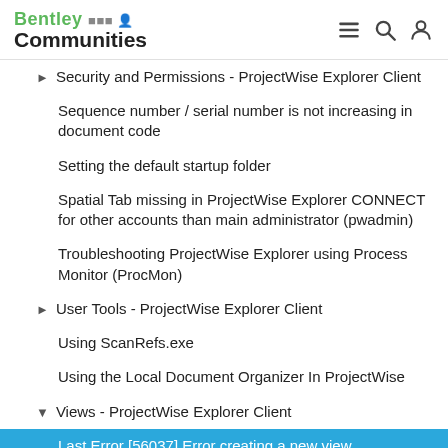Bentley Communities
Security and Permissions - ProjectWise Explorer Client
Sequence number / serial number is not increasing in document code
Setting the default startup folder
Spatial Tab missing in ProjectWise Explorer CONNECT for other accounts than main administrator (pwadmin)
Troubleshooting ProjectWise Explorer using Process Monitor (ProcMon)
User Tools - ProjectWise Explorer Client
Using ScanRefs.exe
Using the Local Document Organizer In ProjectWise
Views - ProjectWise Explorer Client
Last Error [56037] Error creating a new view
New view in ProjectWise project
Set global view on folder
Workflow rules engine, Error -50001 Attribute specified in action not found
Workflows & States - ProjectWise Explorer Client